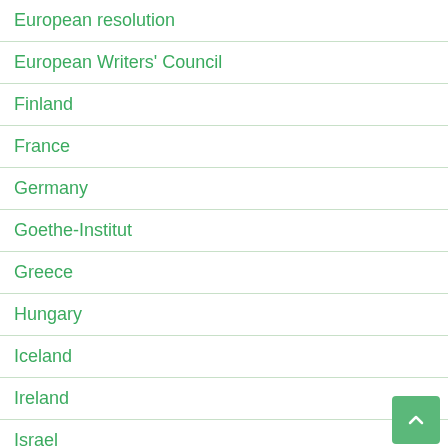European resolution
European Writers' Council
Finland
France
Germany
Goethe-Institut
Greece
Hungary
Iceland
Ireland
Israel
Italy
joint statement